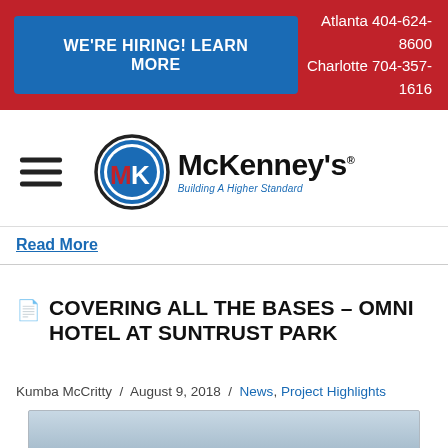WE'RE HIRING! LEARN MORE | Atlanta 404-624-8600 | Charlotte 704-357-1616
[Figure (logo): McKenney's Inc. logo with MK initials in a blue circle and text 'McKenney's Building A Higher Standard']
Read More
COVERING ALL THE BASES – OMNI HOTEL AT SUNTRUST PARK
Kumba McCritty / August 9, 2018 / News, Project Highlights
[Figure (photo): Article thumbnail image, partial view showing sky/building]